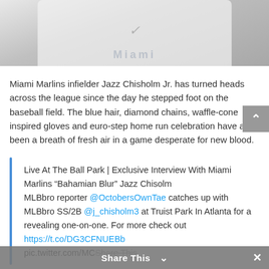[Figure (photo): Photo of Miami Marlins player in white Nike jersey, cropped at upper body/head area]
Miami Marlins infielder Jazz Chisholm Jr. has turned heads across the league since the day he stepped foot on the baseball field. The blue hair, diamond chains, waffle-cone inspired gloves and euro-step home run celebration have all been a breath of fresh air in a game desperate for new blood.
Live At The Ball Park | Exclusive Interview With Miami Marlins “Bahamian Blur” Jazz Chisolm
MLBbro reporter @OctobersOwnTae catches up with MLBbro SS/2B @j_chisholm3 at Truist Park In Atlanta for a revealing one-on-one. For more check out https://t.co/DG3CFNUEBb
pic.twitter.com/MC...
Share This